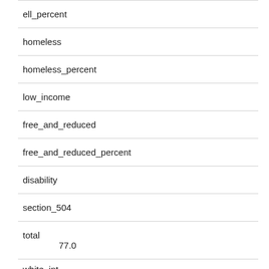| Field | Value |
| --- | --- |
| ell_percent |  |
| homeless |  |
| homeless_percent |  |
| low_income |  |
| free_and_reduced |  |
| free_and_reduced_percent |  |
| disability |  |
| section_504 |  |
| total | 77.0 |
| white_int |  |